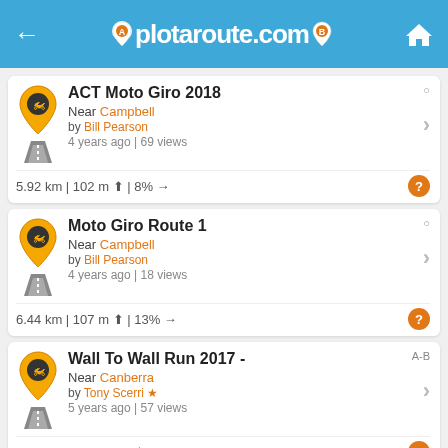plotaroute.com
ACT Moto Giro 2018 | Near Campbell | by Bill Pearson | 4 years ago | 69 views | 5.92 km | 102 m | 8%
Moto Giro Route 1 | Near Campbell | by Bill Pearson | 4 years ago | 18 views | 6.44 km | 107 m | 13%
Wall To Wall Run 2017 - | Near Canberra | by Tony Scerri | 5 years ago | 57 views | 515.37 km | 7963 m | 9%
W2W Return Option 1 | Near Canberra | by Tony Scerri | 4 years ago | 47 views